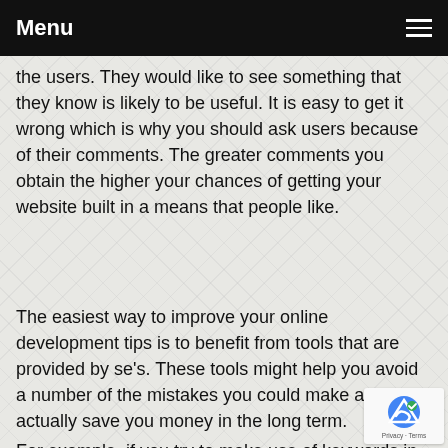Menu
the users. They would like to see something that they know is likely to be useful. It is easy to get it wrong which is why you should ask users because of their comments. The greater comments you obtain the higher your chances of getting your website built in a means that people like.
The easiest way to improve your online development tips is to benefit from tools that are provided by se's. These tools might help you avoid a number of the mistakes you could make and will actually save you money in the long term.
For example, if you try to make use of keywords in your web